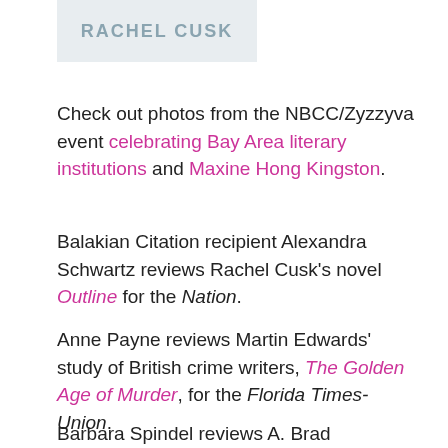[Figure (illustration): Book cover image showing 'RACHEL CUSK' text on a light grey/blue background]
Check out photos from the NBCC/Zyzzyva event celebrating Bay Area literary institutions and Maxine Hong Kingston.
Balakian Citation recipient Alexandra Schwartz reviews Rachel Cusk's novel Outline for the Nation.
Anne Payne reviews Martin Edwards' study of British crime writers, The Golden Age of Murder, for the Florida Times-Union.
Barbara Spindel reviews A. Brad Schwartz's